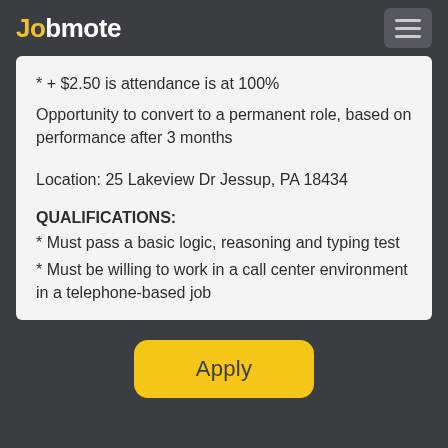Jobmote
* + $2.50 is attendance is at 100%
Opportunity to convert to a permanent role, based on performance after 3 months
Location: 25 Lakeview Dr Jessup, PA 18434
QUALIFICATIONS:
* Must pass a basic logic, reasoning and typing test
* Must be willing to work in a call center environment in a telephone-based job
Apply